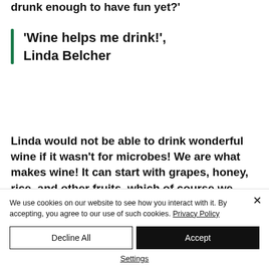drunk enough to have fun yet?'
'Wine helps me drink!', Linda Belcher
Linda would not be able to drink wonderful wine if it wasn't for microbes! We are what makes wine! It can start with grapes, honey, rice, and other fruits, which of course we microbes are
We use cookies on our website to see how you interact with it. By accepting, you agree to our use of such cookies. Privacy Policy
Decline All
Accept
Settings